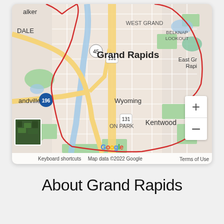[Figure (map): Google Maps view of Grand Rapids, Michigan showing surrounding areas including Walker, West Grand, Belknap Lookout, East Grand Rapids, Wyoming, Grandville, Kentwood, and Byron Park. Highways 45, 131, and 196 are visible. A red boundary line outlines the city limits. Zoom controls (+/-) are visible on the right side.]
About Grand Rapids